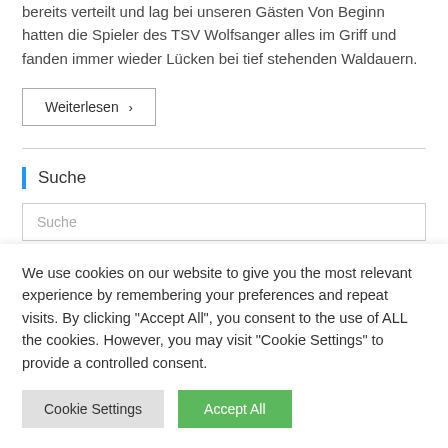bereits verteilt und lag bei unseren Gästen Von Beginn hatten die Spieler des TSV Wolfsanger alles im Griff und fanden immer wieder Lücken bei tief stehenden Waldauern.
Weiterlesen ›
Suche
Suche
We use cookies on our website to give you the most relevant experience by remembering your preferences and repeat visits. By clicking "Accept All", you consent to the use of ALL the cookies. However, you may visit "Cookie Settings" to provide a controlled consent.
Cookie Settings
Accept All